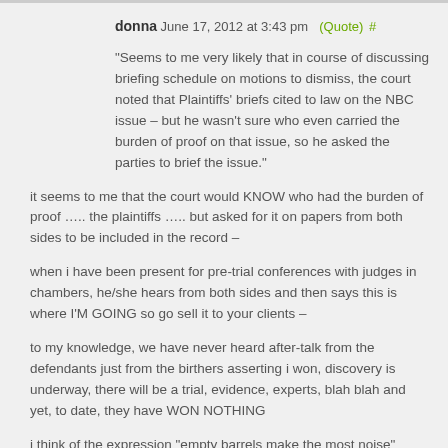donna June 17, 2012 at 3:43 pm (Quote) #
“Seems to me very likely that in course of discussing briefing schedule on motions to dismiss, the court noted that Plaintiffs' briefs cited to law on the NBC issue – but he wasn’t sure who even carried the burden of proof on that issue, so he asked the parties to brief the issue.”
it seems to me that the court would KNOW who had the burden of proof ….. the plaintiffs ….. but asked for it on papers from both sides to be included in the record –
when i have been present for pre-trial conferences with judges in chambers, he/she hears from both sides and then says this is where I’M GOING so go sell it to your clients –
to my knowledge, we have never heard after-talk from the defendants just from the birthers asserting i won, discovery is underway, there will be a trial, evidence, experts, blah blah and yet, to date, they have WON NOTHING
i think of the expression “empty barrels make the most noise”